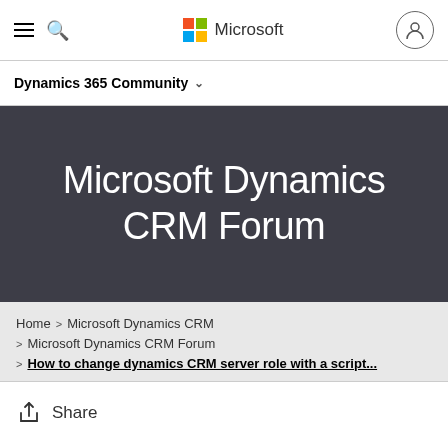Microsoft
Dynamics 365 Community
Microsoft Dynamics CRM Forum
Home > Microsoft Dynamics CRM > Microsoft Dynamics CRM Forum > How to change dynamics CRM server role with a script...
Share